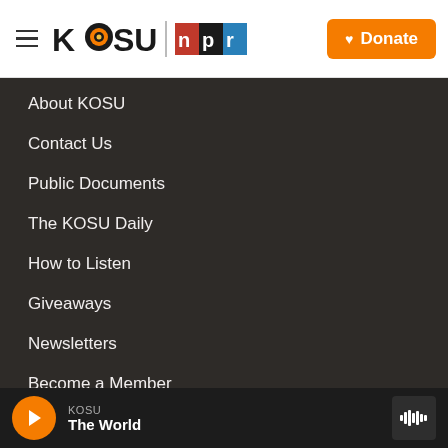KOSU NPR — Donate
About KOSU
Contact Us
Public Documents
The KOSU Daily
How to Listen
Giveaways
Newsletters
Become a Member
KOSU — The World